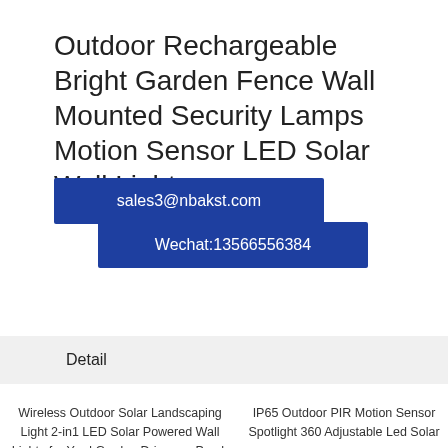Outdoor Rechargeable Bright Garden Fence Wall Mounted Security Lamps Motion Sensor LED Solar Wall Light
sales3@nbakst.com
Wechat:13566556384
Detail
Wireless Outdoor Solar Landscaping Light 2-in1 LED Solar Powered Wall Lights for Yard Garden Driveway Porch Walkway
IP65 Outdoor PIR Motion Sensor Spotlight 360 Adjustable Led Solar